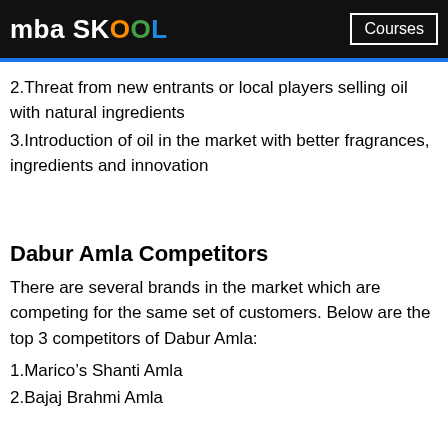mba SKOOL | Courses
2.Threat from new entrants or local players selling oil with natural ingredients
3.Introduction of oil in the market with better fragrances, ingredients and innovation
Dabur Amla Competitors
There are several brands in the market which are competing for the same set of customers. Below are the top 3 competitors of Dabur Amla:
1.Marico’s Shanti Amla
2.Bajaj Brahmi Amla